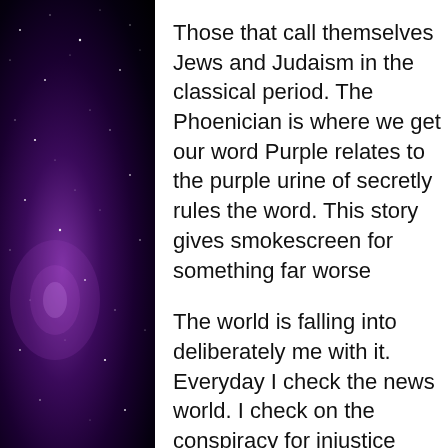[Figure (photo): Dark space/galaxy background image on the left side with purple nebula and stars]
Those that call themselves Jews and Judaism in the classical period. The Phoenician is where we get our word Purple relates to the purple urine o secretly rules the word. This story g smokescreen for something far wo
The world is falling into deliberately me with it. Everyday I check the ne world. I check on the conspiracy fo injustice assails me. Everything in t some way to this engineered chaos